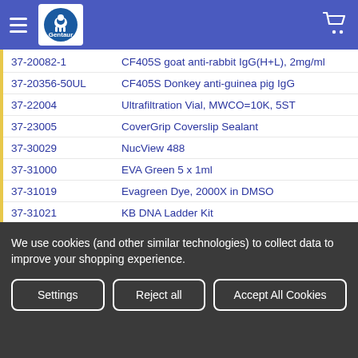Gentaur — navigation header with logo and cart
37-20082-1 — CF405S goat anti-rabbit IgG(H+L), 2mg/ml
37-20356-50UL — CF405S Donkey anti-guinea pig IgG
37-22004 — Ultrafiltration Vial, MWCO=10K, 5ST
37-23005 — CoverGrip Coverslip Sealant
37-30029 — NucView 488
37-31000 — EVA Green 5 x 1ml
37-31019 — Evagreen Dye, 2000X in DMSO
37-31021 — KB DNA Ladder Kit
37-40013 — PMA (Propidium Monoazide), 1mg
We use cookies (and other similar technologies) to collect data to improve your shopping experience.
Settings | Reject all | Accept All Cookies